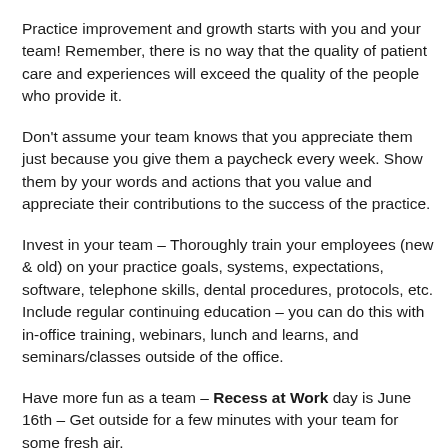Practice improvement and growth starts with you and your team! Remember, there is no way that the quality of patient care and experiences will exceed the quality of the people who provide it.
Don't assume your team knows that you appreciate them just because you give them a paycheck every week. Show them by your words and actions that you value and appreciate their contributions to the success of the practice.
Invest in your team – Thoroughly train your employees (new & old) on your practice goals, systems, expectations, software, telephone skills, dental procedures, protocols, etc.  Include regular continuing education – you can do this with in-office training, webinars, lunch and learns, and seminars/classes outside of the office.
Have more fun as a team – Recess at Work day is June 16th – Get outside for a few minutes with your team for some fresh air.